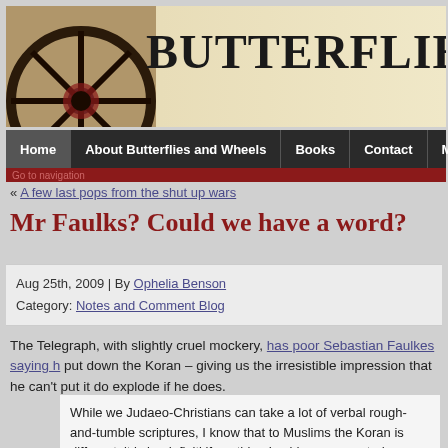[Figure (screenshot): Website header banner with wagon wheel image on left and site title 'Butterflies &' in large serif font on right, with beige/cream background]
Home | About Butterflies and Wheels | Books | Contact | Mail
Go to navigation
« A few last pops from the shut up wars
Mr Faulks? Could we have a word?
Aug 25th, 2009 | By Ophelia Benson
Category: Notes and Comment Blog
The Telegraph, with slightly cruel mockery, has poor Sebastian Faulkes saying h put down the Koran – giving us the irresistible impression that he can't put it do explode if he does.
While we Judaeo-Christians can take a lot of verbal rough-and-tumble scriptures, I know that to Muslims the Koran is different; it is by definiti if anything I said or was quoted as saying (not always the same thing